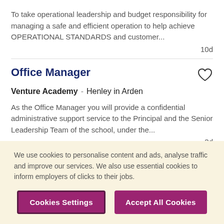To take operational leadership and budget responsibility for managing a safe and efficient operation to help achieve OPERATIONAL STANDARDS and customer...
10d
Office Manager
Venture Academy - Henley in Arden
As the Office Manager you will provide a confidential administrative support service to the Principal and the Senior Leadership Team of the school, under the...
3d
We use cookies to personalise content and ads, analyse traffic and improve our services. We also use essential cookies to inform employers of clicks to their jobs.